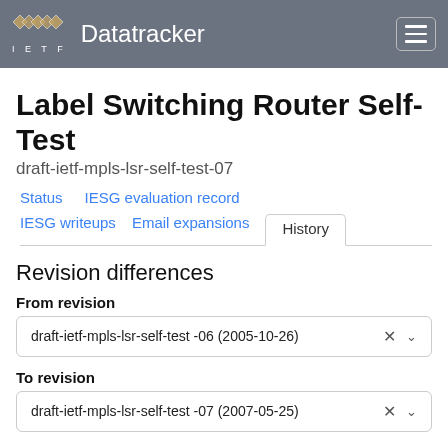IETF Datatracker
Label Switching Router Self-Test
draft-ietf-mpls-lsr-self-test-07
Status
IESG evaluation record
IESG writeups
Email expansions
History
Revision differences
From revision
draft-ietf-mpls-lsr-self-test -06 (2005-10-26)
To revision
draft-ietf-mpls-lsr-self-test -07 (2007-05-25)